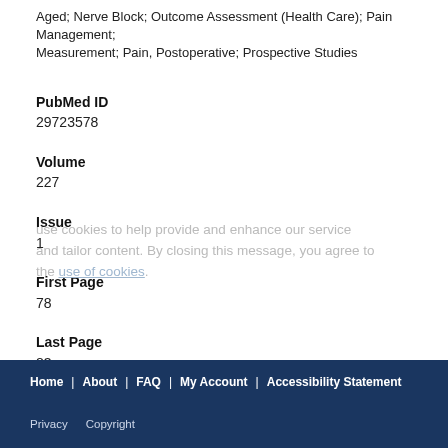Aged; Nerve Block; Outcome Assessment (Health Care); Pain Management; Pain Measurement; Pain, Postoperative; Prospective Studies
PubMed ID
29723578
Volume
227
Issue
1
First Page
78
Last Page
83
Home | About | FAQ | My Account | Accessibility Statement Privacy  Copyright